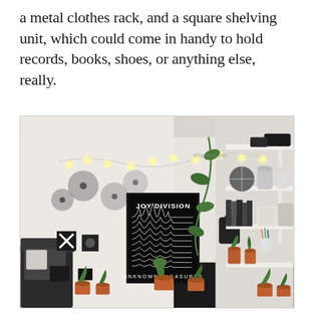a metal clothes rack, and a square shelving unit, which could come in handy to hold records, books, shoes, or anything else, really.
[Figure (photo): A cozy room interior with white walls decorated with fairy lights strung along the wall, vinyl records pinned to the wall, a black Joy Division 'Unknown Pleasures' poster, hanging plants, a black crossbody bag on a hook, white floating shelves on the right wall filled with books, plants in terracotta pots, small items, a checkered circle object, and a cylindrical speaker. The floor has black carpet with several potted plants arranged along the walls and a dark sofa on the left. A watermark reads @bonelessjbea.]